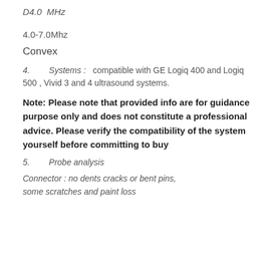D4.0  MHz
4.0-7.0Mhz
Convex
4.     Systems :   compatible with GE Logiq 400 and Logiq 500 , Vivid 3 and 4 ultrasound systems.
Note: Please note that provided info are for guidance purpose only and does not constitute a professional advice. Please verify the compatibility of the system yourself before committing to buy
5.     Probe analysis
Connector : no dents cracks or bent pins, some scratches and paint loss